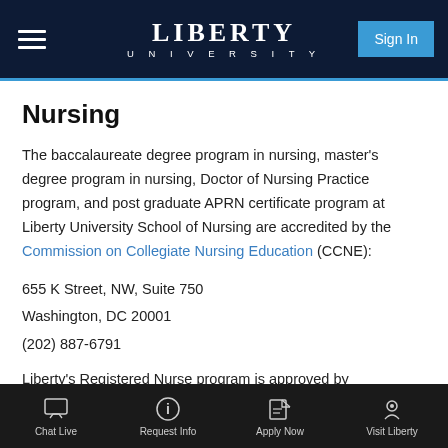LIBERTY UNIVERSITY
Nursing
The baccalaureate degree program in nursing, master's degree program in nursing, Doctor of Nursing Practice program, and post graduate APRN certificate program at Liberty University School of Nursing are accredited by the Commission on Collegiate Nursing Education (CCNE):
655 K Street, NW, Suite 750
Washington, DC 20001
(202) 887-6791
Liberty's Registered Nurse program is approved by
Chat Live  Request Info  Apply Now  Visit Liberty